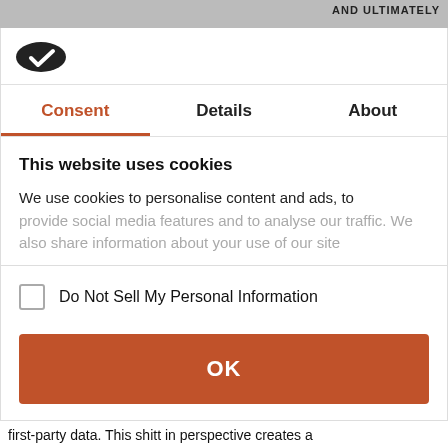[Figure (screenshot): Top image strip showing partial photo with text 'AND ULTIMATELY' on the right side]
[Figure (logo): Cookiebot logo — black oval with white checkmark]
Consent	Details	About
This website uses cookies
We use cookies to personalise content and ads, to provide social media features and to analyse our traffic. We also share information about your use of our site
Do Not Sell My Personal Information
OK
Powered by Cookiebot by Usercentrics
first-party data. This shitt in perspective creates a